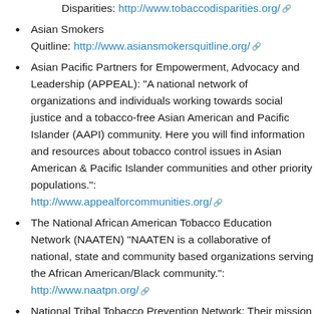Disparities: http://www.tobaccodisparities.org/
Asian Smokers Quitline: http://www.asiansmokersquitline.org/
Asian Pacific Partners for Empowerment, Advocacy and Leadership (APPEAL): "A national network of organizations and individuals working towards social justice and a tobacco-free Asian American and Pacific Islander (AAPI) community. Here you will find information and resources about tobacco control issues in Asian American & Pacific Islander communities and other priority populations.": http://www.appealforcommunities.org/
The National African American Tobacco Education Network (NAATEN) "NAATEN is a collaborative of national, state and community based organizations serving the African American/Black community.": http://www.naatpn.org/
National Tribal Tobacco Prevention Network: Their mission is "to enhance the wellness of American Indian and Alaska Native communities by providing culturally appropriate tobacco education and prevention resources, technical